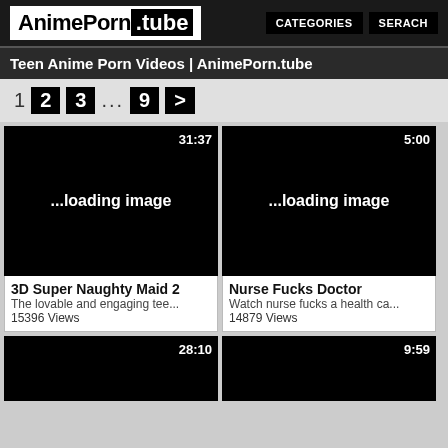AnimePorn.tube — CATEGORIES SERACH
Teen Anime Porn Videos | AnimePorn.tube
1 2 3 ... 9 >
[Figure (screenshot): Video thumbnail loading image, duration 31:37]
3D Super Naughty Maid 2
The lovable and engaging tee...
15396 Views
[Figure (screenshot): Video thumbnail loading image, duration 5:00]
Nurse Fucks Doctor
Watch nurse fucks a health ca...
14879 Views
[Figure (screenshot): Video thumbnail loading image, duration 28:10]
[Figure (screenshot): Video thumbnail loading image, duration 9:59]